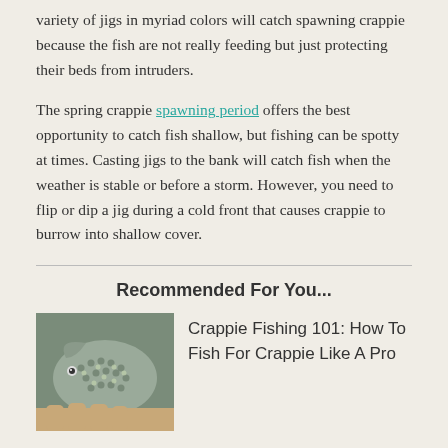variety of jigs in myriad colors will catch spawning crappie because the fish are not really feeding but just protecting their beds from intruders.
The spring crappie spawning period offers the best opportunity to catch fish shallow, but fishing can be spotty at times. Casting jigs to the bank will catch fish when the weather is stable or before a storm. However, you need to flip or dip a jig during a cold front that causes crappie to burrow into shallow cover.
Recommended For You...
[Figure (photo): Close-up photo of a crappie fish being held in a hand, showing its distinctive spotted scale pattern.]
Crappie Fishing 101: How To Fish For Crappie Like A Pro